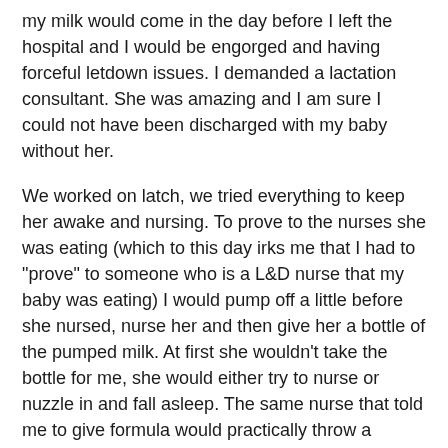my milk would come in the day before I left the hospital and I would be engorged and having forceful letdown issues. I demanded a lactation consultant. She was amazing and I am sure I could not have been discharged with my baby without her.
We worked on latch, we tried everything to keep her awake and nursing. To prove to the nurses she was eating (which to this day irks me that I had to "prove" to someone who is a L&D nurse that my baby was eating) I would pump off a little before she nursed, nurse her and then give her a bottle of the pumped milk. At first she wouldn't take the bottle for me, she would either try to nurse or nuzzle in and fall asleep. The same nurse that told me to give formula would practically throw a temper tantrum when I would ask her to help. Through her huffing (about being t00 for this one night) she says to me "what are you going to do when you get home, your going to have to figure out how to feed her on your own!"
I kept up the pump, nurse, bottle for 6 weeks. My daughter did get to come home with me, I had to weigh her before and